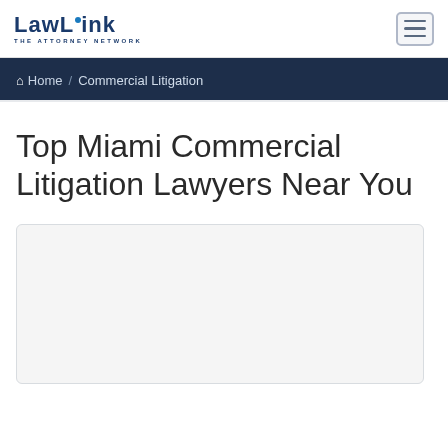[Figure (logo): LawLink - The Attorney Network logo in dark navy blue]
Home / Commercial Litigation
Top Miami Commercial Litigation Lawyers Near You
[Figure (other): Map or content placeholder box with light gray background and rounded border]